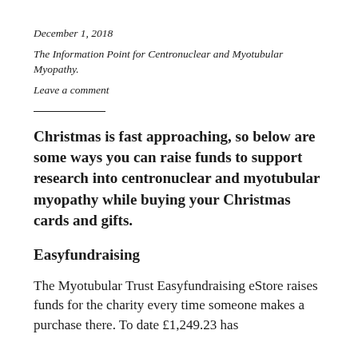December 1, 2018
The Information Point for Centronuclear and Myotubular Myopathy.
Leave a comment
Christmas is fast approaching, so below are some ways you can raise funds to support research into centronuclear and myotubular myopathy while buying your Christmas cards and gifts.
Easyfundraising
The Myotubular Trust Easyfundraising eStore raises funds for the charity every time someone makes a purchase there. To date £1,249.23 has